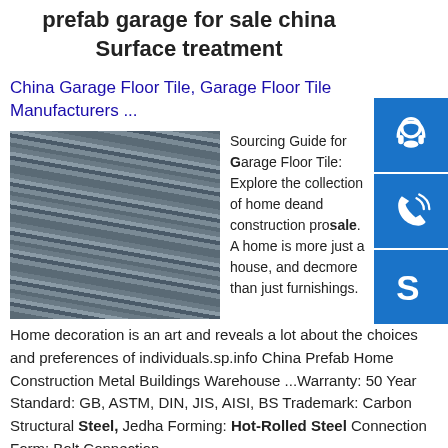prefab garage for sale china surface treatment
China Garage Floor Tile, Garage Floor Tile Manufacturers ...
[Figure (photo): Stacked steel I-beams or channels in a warehouse/storage setting]
Sourcing Guide for Garage Floor Tile: Explore the collection of home decoration and construction products for sale. A home is more just a house, and decoration is more than just furnishings. Home decoration is an art and reveals a lot about the choices and preferences of individuals.sp.info China Prefab Home Construction Metal Buildings Warehouse ...Warranty: 50 Year Standard: GB, ASTM, DIN, JIS, AISI, BS Trademark: Carbon Structural Steel, Jedha Forming: Hot-Rolled Steel Connection Form: Bolt Connection